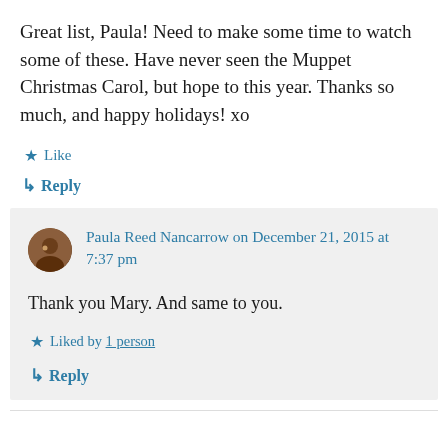Great list, Paula! Need to make some time to watch some of these. Have never seen the Muppet Christmas Carol, but hope to this year. Thanks so much, and happy holidays! xo
★ Like
↳ Reply
Paula Reed Nancarrow on December 21, 2015 at 7:37 pm
Thank you Mary. And same to you.
★ Liked by 1 person
↳ Reply